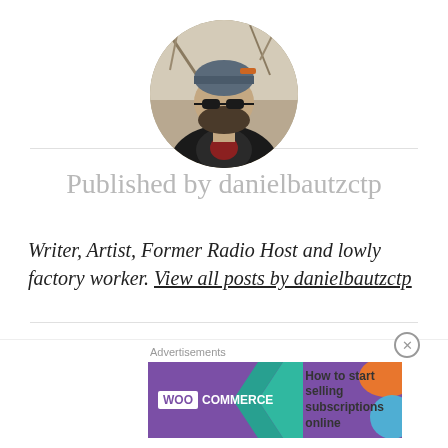[Figure (photo): Circular profile photo of a bearded man wearing sunglasses and a beanie hat, dressed in a leather jacket, with a blurred natural outdoor background]
Published by danielbautzctp
Writer, Artist, Former Radio Host and lowly factory worker. View all posts by danielbautzctp
< Previous
Things/Changes Coming
Next >
Busy, Busy, Bus
Advertisements
How to start selling subscriptions online